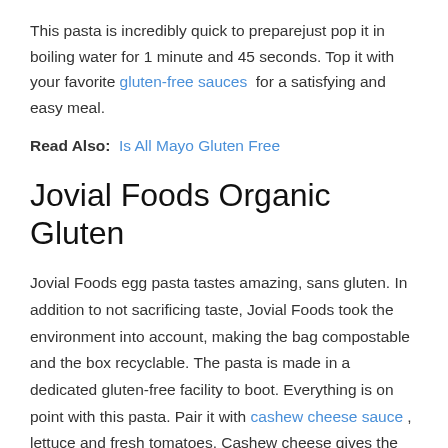This pasta is incredibly quick to preparejust pop it in boiling water for 1 minute and 45 seconds. Top it with your favorite gluten-free sauces for a satisfying and easy meal.
Read Also: Is All Mayo Gluten Free
Jovial Foods Organic Gluten
Jovial Foods egg pasta tastes amazing, sans gluten. In addition to not sacrificing taste, Jovial Foods took the environment into account, making the bag compostable and the box recyclable. The pasta is made in a dedicated gluten-free facility to boot. Everything is on point with this pasta. Pair it with cashew cheese sauce , lettuce and fresh tomatoes. Cashew cheese gives the recipe a flair, while crisp lettuce and tomatoes lend plant purified water and savoriness. This is a great recipe to make for guests too